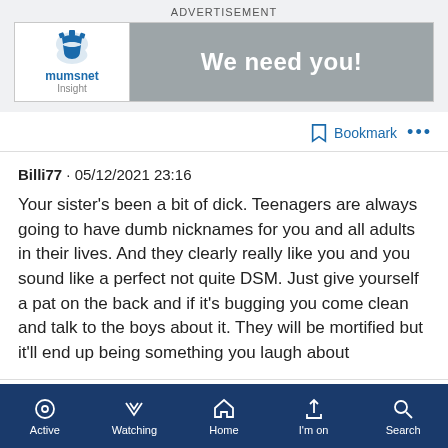ADVERTISEMENT
[Figure (logo): Mumsnet Insight advertisement banner with logo on the left and 'We need you!' text on grey background]
Bookmark •••
Billi77 · 05/12/2021 23:16
Your sister's been a bit of dick. Teenagers are always going to have dumb nicknames for you and all adults in their lives. And they clearly really like you and you sound like a perfect not quite DSM. Just give yourself a pat on the back and if it's bugging you come clean and talk to the boys about it. They will be mortified but it'll end up being something you laugh about
Bookmark •••
Active   Watching   Home   I'm on   Search